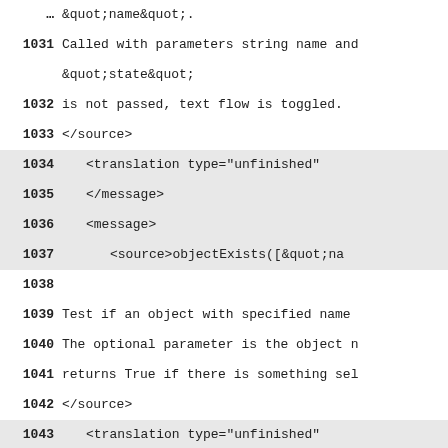Line 1030 (truncated): &quot;name&quot;.
1031 Called with parameters string name and &quot;state&quot;
1032 is not passed, text flow is toggled.
1033 </source>
1034     <translation type="unfinished"
1035     </message>
1036     <message>
1037         <source>objectExists([&quot;na
1038 (empty)
1039 Test if an object with specified name
1040 The optional parameter is the object n
1041 returns True if there is something sel
1042 </source>
1043     <translation type="unfinished"
1044     </message>
1045     <message>
1046         <source>setStyle(&quot;style&q
1047 (empty)
1048 Apply the named &quot;style&quot; to t object name